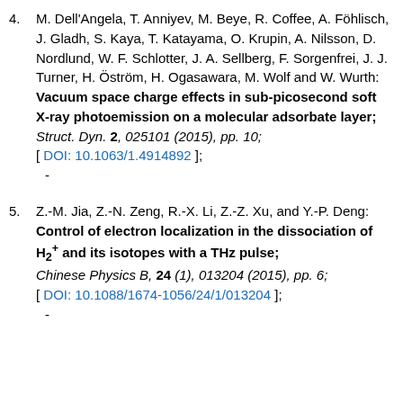4. M. Dell'Angela, T. Anniyev, M. Beye, R. Coffee, A. Föhlisch, J. Gladh, S. Kaya, T. Katayama, O. Krupin, A. Nilsson, D. Nordlund, W. F. Schlotter, J. A. Sellberg, F. Sorgenfrei, J. J. Turner, H. Öström, H. Ogasawara, M. Wolf and W. Wurth: Vacuum space charge effects in sub-picosecond soft X-ray photoemission on a molecular adsorbate layer; Struct. Dyn. 2, 025101 (2015), pp. 10; [ DOI: 10.1063/1.4914892 ];
5. Z.-M. Jia, Z.-N. Zeng, R.-X. Li, Z.-Z. Xu, and Y.-P. Deng: Control of electron localization in the dissociation of H2+ and its isotopes with a THz pulse; Chinese Physics B, 24 (1), 013204 (2015), pp. 6; [ DOI: 10.1088/1674-1056/24/1/013204 ];